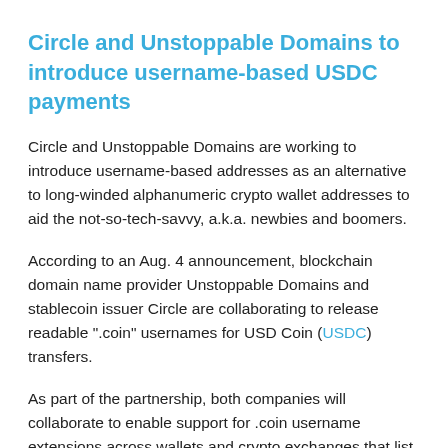Circle and Unstoppable Domains to introduce username-based USDC payments
Circle and Unstoppable Domains are working to introduce username-based addresses as an alternative to long-winded alphanumeric crypto wallet addresses to aid the not-so-tech-savvy, a.k.a. newbies and boomers.
According to an Aug. 4 announcement, blockchain domain name provider Unstoppable Domains and stablecoin issuer Circle are collaborating to release readable ".coin" usernames for USD Coin (USDC) transfers.
As part of the partnership, both companies will collaborate to enable support for .coin username extensions across wallets and crypto exchanges that list the number two-ranked stablecoin.